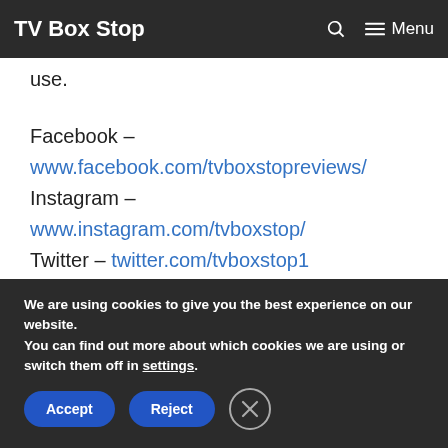TV Box Stop  🔍  ≡ Menu
use.
Facebook – www.facebook.com/tvboxstopreviews/
Instagram – www.instagram.com/tvboxstop/
Twitter – twitter.com/tvboxstop1
We are using cookies to give you the best experience on our website.
You can find out more about which cookies we are using or switch them off in settings.
Accept  Reject  ✕